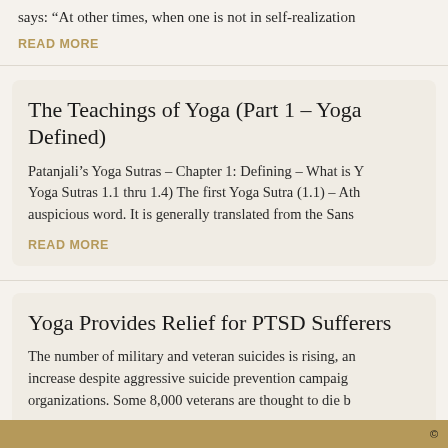says: “At other times, when one is not in self-realization
READ MORE
The Teachings of Yoga (Part 1 – Yoga Defined)
Patanjali’s Yoga Sutras – Chapter 1: Defining – What is Yoga Sutras 1.1 thru 1.4) The first Yoga Sutra (1.1) – Ath auspicious word. It is generally translated from the Sans
READ MORE
Yoga Provides Relief for PTSD Sufferers
The number of military and veteran suicides is rising, an increase despite aggressive suicide prevention campaig organizations. Some 8,000 veterans are thought to die b
READ MORE
©